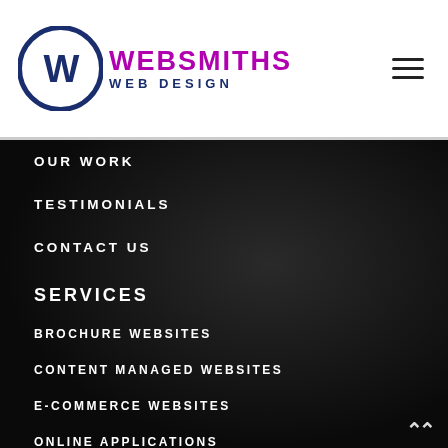[Figure (logo): Websmiths Web Design logo: circular navy badge with W lettermark, text WEBSMITHS in purple and WEB DESIGN in navy]
OUR WORK
TESTIMONIALS
CONTACT US
SERVICES
BROCHURE WEBSITES
CONTENT MANAGED WEBSITES
E-COMMERCE WEBSITES
ONLINE APPLICATIONS
OTHER SERVICES